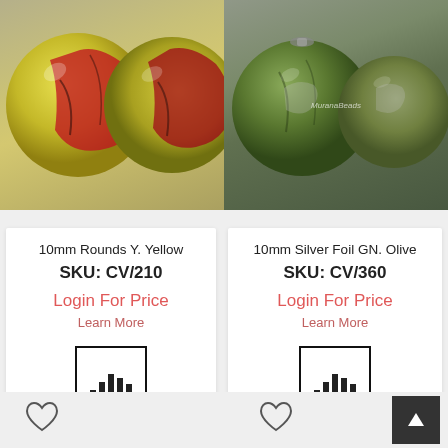[Figure (photo): Two yellow and red patterned round beads (10mm) on blurred background]
[Figure (photo): Two dark olive green round beads (10mm) with silver foil, watermark 'MuranaBeads']
10mm Rounds Y. Yellow
SKU: CV/210
Login For Price
Learn More
[Figure (infographic): Bar chart icon in a square border]
10mm Silver Foil GN. Olive
SKU: CV/360
Login For Price
Learn More
[Figure (infographic): Bar chart icon in a square border]